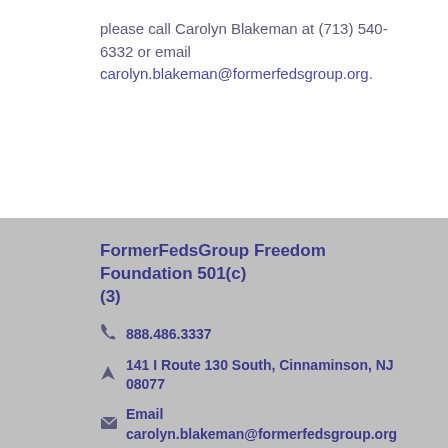please call Carolyn Blakeman at (713) 540-6332 or email carolyn.blakeman@formerfedsgroup.org.
FormerFedsGroup Freedom Foundation 501(c)(3)
888.486.3337
141 I Route 130 South, Cinnaminson, NJ 08077
Email carolyn.blakeman@formerfedsgroup.org
Twitter: @fedsfoundation